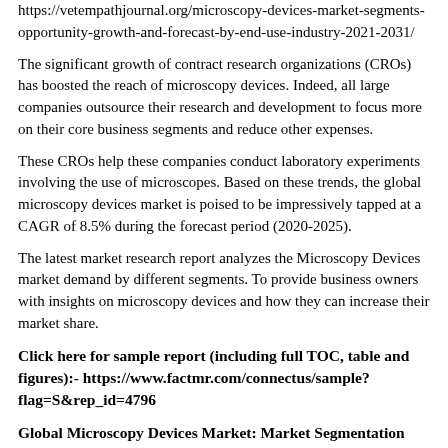https://vetempathjournal.org/microscopy-devices-market-segments-opportunity-growth-and-forecast-by-end-use-industry-2021-2031/
The significant growth of contract research organizations (CROs) has boosted the reach of microscopy devices. Indeed, all large companies outsource their research and development to focus more on their core business segments and reduce other expenses.
These CROs help these companies conduct laboratory experiments involving the use of microscopes. Based on these trends, the global microscopy devices market is poised to be impressively tapped at a CAGR of 8.5% during the forecast period (2020-2025).
The latest market research report analyzes the Microscopy Devices market demand by different segments. To provide business owners with insights on microscopy devices and how they can increase their market share.
Click here for sample report (including full TOC, table and figures):- https://www.factmr.com/connectus/sample?flag=S&rep_id=4796
Global Microscopy Devices Market: Market Segmentation
Fact.MR has studied the global Microscopy Devices Market with the help of experts and the relevant data to come up with the